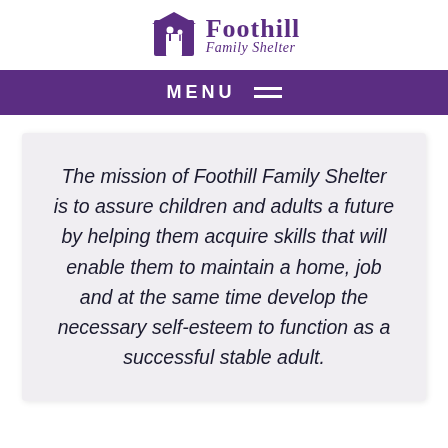[Figure (logo): Foothill Family Shelter logo with icon of two figures under a roof, text 'Foothill' in bold serif and 'Family Shelter' in italic script]
MENU
The mission of Foothill Family Shelter is to assure children and adults a future by helping them acquire skills that will enable them to maintain a home, job and at the same time develop the necessary self-esteem to function as a successful stable adult.